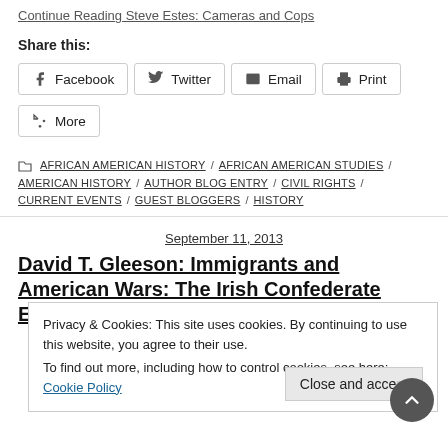Continue Reading Steve Estes: Cameras and Cops
Share this:
Facebook
Twitter
Email
Print
More
AFRICAN AMERICAN HISTORY / AFRICAN AMERICAN STUDIES / AMERICAN HISTORY / AUTHOR BLOG ENTRY / CIVIL RIGHTS / CURRENT EVENTS / GUEST BLOGGERS / HISTORY
September 11, 2013
David T. Gleeson: Immigrants and American Wars: The Irish Confederate Experience
Privacy & Cookies: This site uses cookies. By continuing to use this website, you agree to their use. To find out more, including how to control cookies, see here: Cookie Policy
Close and accept